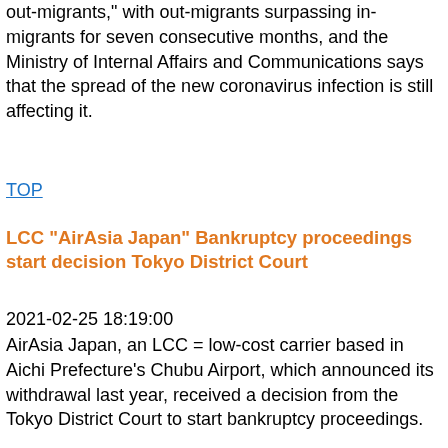out-migrants," with out-migrants surpassing in-migrants for seven consecutive months, and the Ministry of Internal Affairs and Communications says that the spread of the new coronavirus infection is still affecting it.
TOP
LCC "AirAsia Japan" Bankruptcy proceedings start decision Tokyo District Court
2021-02-25 18:19:00
AirAsia Japan, an LCC = low-cost carrier based in Aichi Prefecture's Chubu Airport, which announced its withdrawal last year, received a decision from the Tokyo District Court to start bankruptcy proceedings.
TOP
Saitama Prefecture New Corona 7 dead 111 confirmed infection
2021-02-25 18:15:00